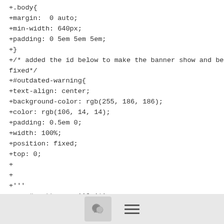+.body{
+margin:  0 auto;
+min-width: 640px;
+padding: 0 5em 5em 5em;
+}
+/* added the id below to make the banner show and be fixed*/
+#outdated-warning{
+text-align: center;
+background-color: rgb(255, 186, 186);
+color: rgb(106, 14, 14);
+padding: 0.5em 0;
+width: 100%;
+position: fixed;
+top: 0;
+
+
+'''
+    # pattern = '^3.1*'
+    # exclude = re.search(pattern, dir)
[Figure (other): Footer bar with comment button icon and hamburger menu icon]